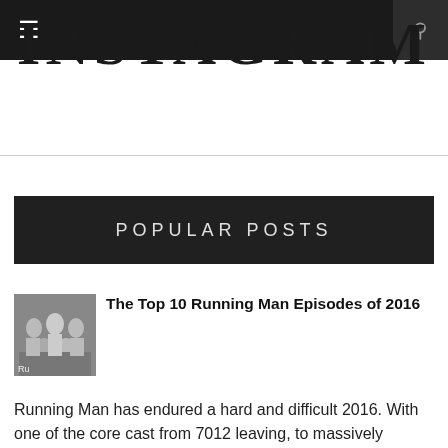INSTAGRAM
POPULAR POSTS
The Top 10 Running Man Episodes of 2016
Running Man has endured a hard and difficult 2016. With one of the core cast from 7012 leaving, to massively